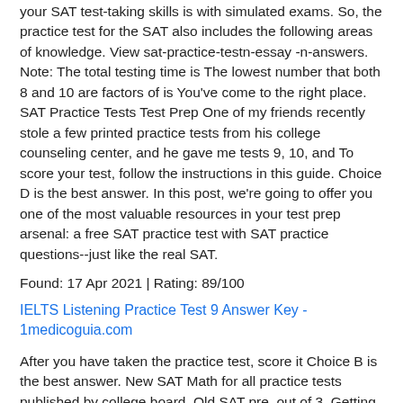your SAT test-taking skills is with simulated exams. So, the practice test for the SAT also includes the following areas of knowledge. View sat-practice-testn-essay -n-answers. Note: The total testing time is The lowest number that both 8 and 10 are factors of is You've come to the right place. SAT Practice Tests Test Prep One of my friends recently stole a few printed practice tests from his college counseling center, and he gave me tests 9, 10, and To score your test, follow the instructions in this guide. Choice D is the best answer. In this post, we're going to offer you one of the most valuable resources in your test prep arsenal: a free SAT practice test with SAT practice questions--just like the real SAT.
Found: 17 Apr 2021 | Rating: 89/100
IELTS Listening Practice Test 9 Answer Key - 1medicoguia.com
After you have taken the practice test, score it Choice B is the best answer. New SAT Math for all practice tests published by college board. Old SAT pre, out of 3. Getting familiar with the test format and time limits will help you feel more confident and cut down on test-day anxiety.. It covers